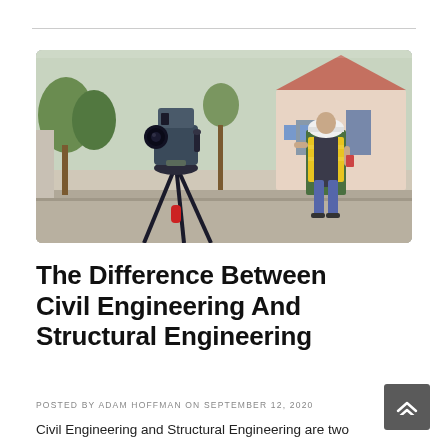[Figure (photo): A surveying theodolite instrument on a tripod in the foreground, with a civil engineer wearing a yellow safety vest and hard hat standing in the background on a street with houses and trees.]
The Difference Between Civil Engineering And Structural Engineering
POSTED BY ADAM HOFFMAN ON SEPTEMBER 12, 2020
Civil Engineering and Structural Engineering are two